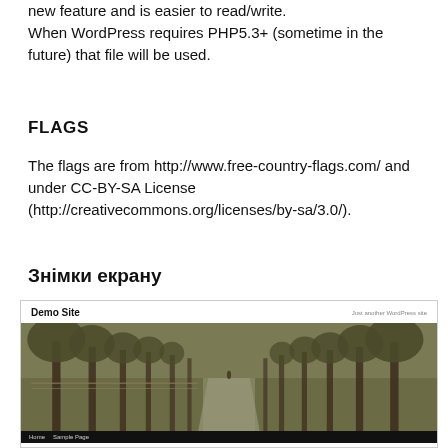new feature and is easier to read/write.
When WordPress requires PHP5.3+ (sometime in the future) that file will be used.
FLAGS
The flags are from http://www.free-country-flags.com/ and under CC-BY-SA License (http://creativecommons.org/licenses/by-sa/3.0/).
Знімки екрану
[Figure (screenshot): Screenshot of a Demo Site WordPress page showing a tree-lined park path header image, navigation bar with Home and Sample Page links, and Hello world! post title.]